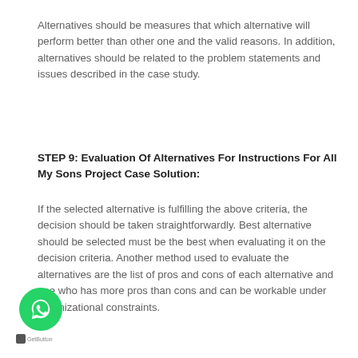Alternatives should be measures that which alternative will perform better than other one and the valid reasons. In addition, alternatives should be related to the problem statements and issues described in the case study.
STEP 9: Evaluation Of Alternatives For Instructions For All My Sons Project Case Solution:
If the selected alternative is fulfilling the above criteria, the decision should be taken straightforwardly. Best alternative should be selected must be the best when evaluating it on the decision criteria. Another method used to evaluate the alternatives are the list of pros and cons of each alternative and one who has more pros than cons and can be workable under organizational constraints.